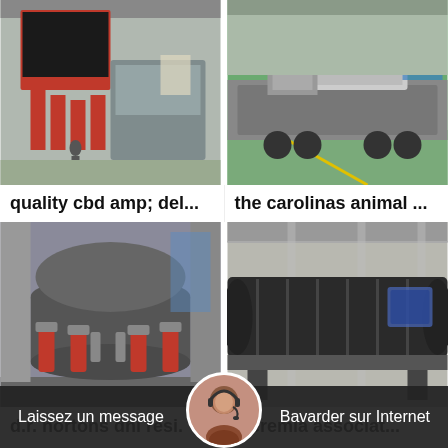[Figure (photo): Industrial machinery with red structural frames and a worker in a factory/warehouse setting]
[Figure (photo): Large mobile crushing/screening plant on a flatbed trailer in an industrial facility]
quality cbd amp; del...
the carolinas animal ...
[Figure (photo): Large grey cone crusher with red hydraulic cylinders in an industrial plant]
[Figure (photo): Large industrial rotary drum or ball mill equipment in a factory]
d.r. hortons dhi resi.
cteremia associat...
[Figure (photo): Chat widget with customer service agent avatar, Laissez un message and Bavarder sur Internet buttons]